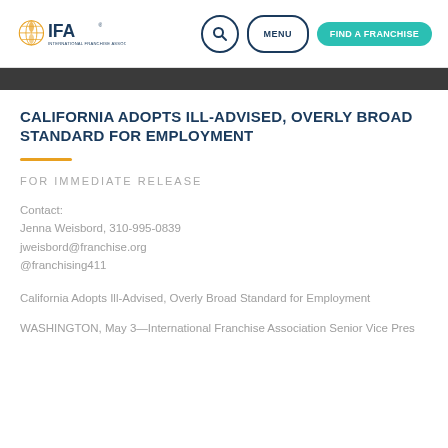IFA International Franchise Association — MENU — FIND A FRANCHISE
CALIFORNIA ADOPTS ILL-ADVISED, OVERLY BROAD STANDARD FOR EMPLOYMENT
FOR IMMEDIATE RELEASE
Contact:
Jenna Weisbord, 310-995-0839
jweisbord@franchise.org
@franchising411
California Adopts Ill-Advised, Overly Broad Standard for Employment
WASHINGTON, May 3—International Franchise Association Senior Vice Pres